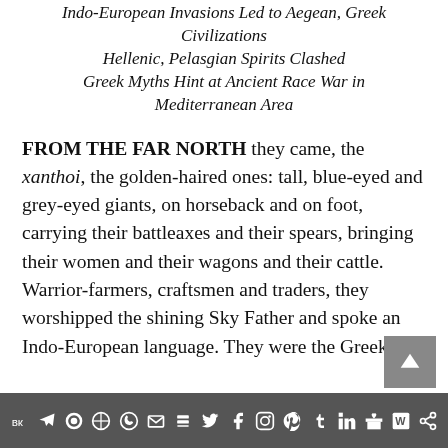Indo-European Invasions Led to Aegean, Greek Civilizations
Hellenic, Pelasgian Spirits Clashed
Greek Myths Hint at Ancient Race War in Mediterranean Area
FROM THE FAR NORTH they came, the xanthoi, the golden-haired ones: tall, blue-eyed and grey-eyed giants, on horseback and on foot, carrying their battleaxes and their spears, bringing their women and their wagons and their cattle. Warrior-farmers, craftsmen and traders, they worshipped the shining Sky Father and spoke an Indo-European language. They were the Greeks.
Social media share bar with icons: VK, Telegram, Reddit, WordPress, WhatsApp, Email, Buffer, Twitter, Facebook, Instagram, Pinterest, Tumblr, LinkedIn, Gift, W, Share